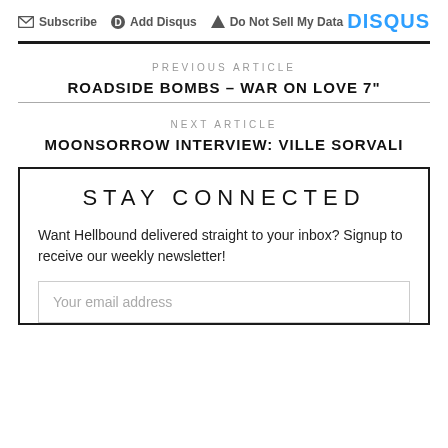Subscribe  Add Disqus  Do Not Sell My Data  DISQUS
PREVIOUS ARTICLE
ROADSIDE BOMBS – WAR ON LOVE 7"
NEXT ARTICLE
MOONSORROW INTERVIEW: VILLE SORVALI
STAY CONNECTED
Want Hellbound delivered straight to your inbox? Signup to receive our weekly newsletter!
Your email address